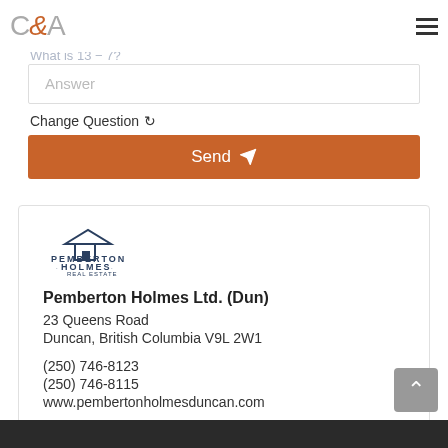C&A
What is 13 - 7?
Answer
Change Question ↻
Send
[Figure (logo): Pemberton Holmes Real Estate logo with house icon and text]
Pemberton Holmes Ltd. (Dun)
23 Queens Road
Duncan, British Columbia V9L 2W1
(250) 746-8123
(250) 746-8115
www.pembertonholmesduncan.com